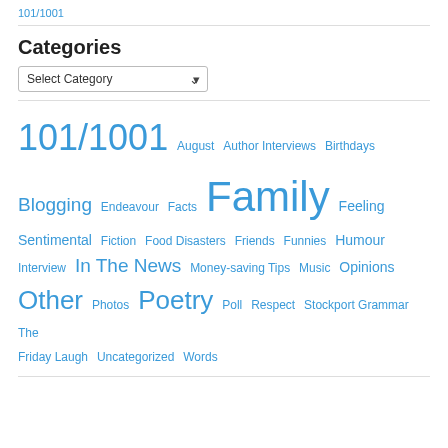101/1001
Categories
Select Category
101/1001  August  Author Interviews  Birthdays  Blogging  Endeavour  Facts  Family  Feeling Sentimental  Fiction  Food Disasters  Friends  Funnies  Humour  Interview  In The News  Money-saving Tips  Music  Opinions  Other  Photos  Poetry  Poll  Respect  Stockport Grammar  The Friday Laugh  Uncategorized  Words